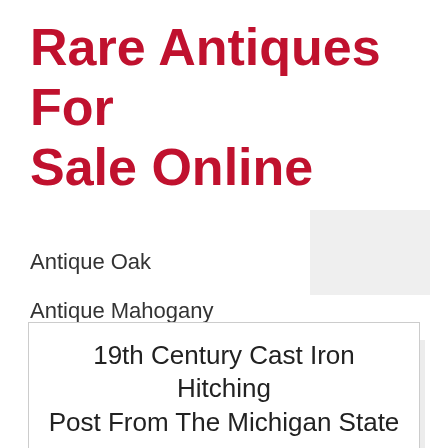Rare Antiques For Sale Online
Antique Oak
Antique Mahogany
Antique Carpet
Antique Painting
Antique Glass
Antique Plate
19th Century Cast Iron Hitching Post From The Michigan State